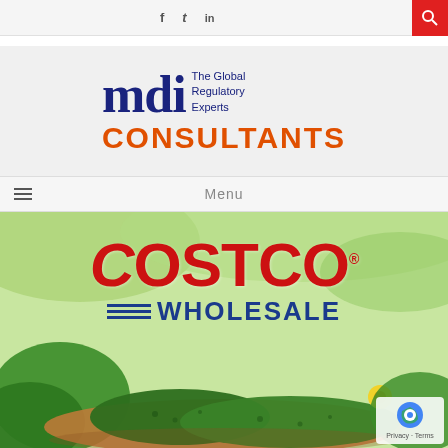f  t  in  [search icon]
[Figure (logo): MDI Consultants logo — lowercase 'mdi' in dark blue bold serif, with tagline 'The Global Regulatory Experts' in dark blue to the right, and 'CONSULTANTS' in bold orange below]
[Figure (screenshot): Navigation menu bar with hamburger icon on left and 'Menu' text centered, on a light background]
[Figure (photo): Costco Wholesale logo overlaid on a photo of fresh cucumbers on a plate with green leaves and a yellow flower, set in a greenhouse background. The Costco logo has red text 'COSTCO' with a registered trademark symbol, and blue striped 'WHOLESALE' text below.]